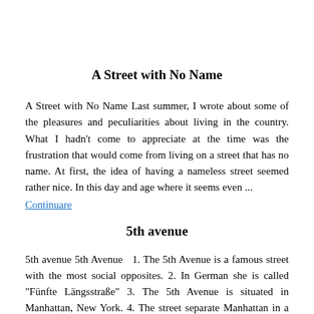A Street with No Name
A Street with No Name Last summer, I wrote about some of the pleasures and peculiarities about living in the country. What I hadn't come to appreciate at the time was the frustration that would come from living on a street that has no name. At first, the idea of having a nameless street seemed rather nice. In this day and age where it seems even ...
Continuare
5th avenue
5th avenue 5th Avenue   1. The 5th Avenue is a famous street with the most social opposites. 2. In German she is called "Fünfte Längsstraße" 3. The 5th Avenue is situated in Manhattan, New York. 4. The street separate Manhattan in a ost- and a westhalf. 5. Exact the street is situadet next to the Central P ...
Continuare